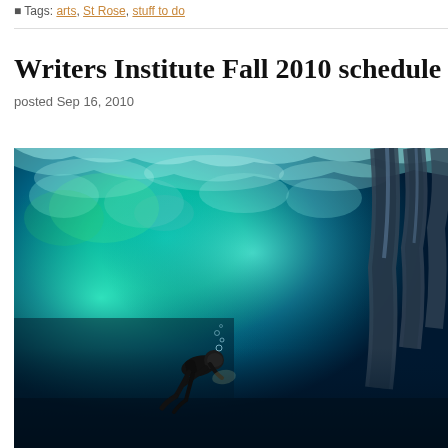Tags: arts, St Rose, stuff to do
Writers Institute Fall 2010 schedule
posted Sep 16, 2010
[Figure (photo): Underwater photo of a scuba diver swimming beneath an icy ceiling with teal and green glowing ice formations above and dark blue water below. Icicle-like formations hang from the ceiling on the right side.]